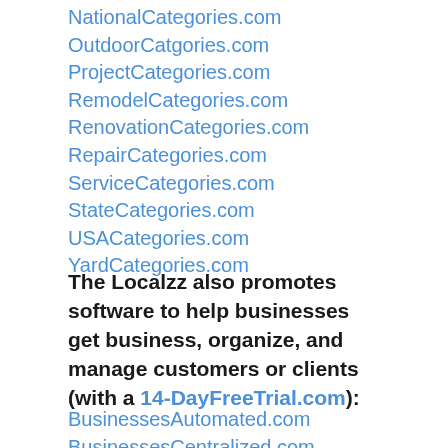NationalCategories.com
OutdoorCatgories.com
ProjectCategories.com
RemodelCategories.com
RenovationCategories.com
RepairCategories.com
ServiceCategories.com
StateCategories.com
USACategories.com
YardCategories.com
The Localzz also promotes software to help businesses get business, organize, and manage customers or clients (with a 14-DayFreeTrial.com):
BusinessesAutomated.com
BusinessesCentralized.com